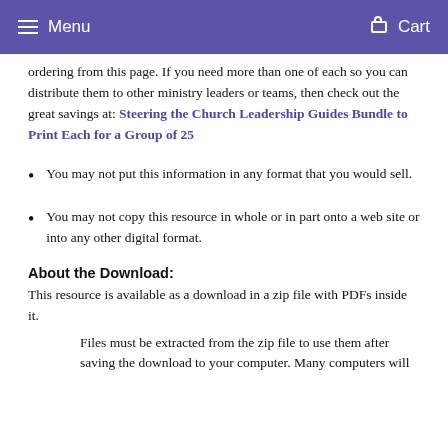Menu   Cart
ordering from this page. If you need more than one of each so you can distribute them to other ministry leaders or teams, then check out the great savings at: Steering the Church Leadership Guides Bundle to Print Each for a Group of 25
You may not put this information in any format that you would sell.
You may not copy this resource in whole or in part onto a web site or into any other digital format.
About the Download:
This resource is available as a download in a zip file with PDFs inside it.
Files must be extracted from the zip file to use them after saving the download to your computer. Many computers will